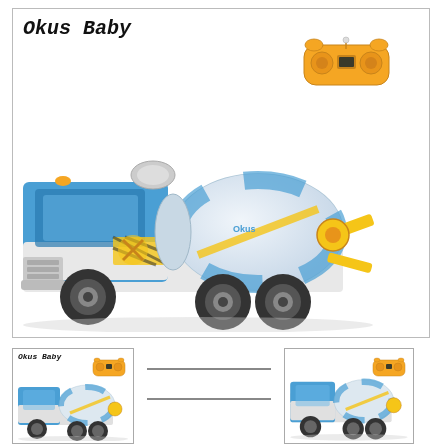[Figure (photo): Main product image: RC toy cement mixer truck in blue and white with yellow remote controller. Brand label 'Okus Baby' handwritten in top left corner of bordered box.]
[Figure (photo): Thumbnail 1: Small version of Okus Baby RC cement mixer truck with remote, in bordered box.]
[Figure (photo): Thumbnail 2: Partial/cropped view area with two horizontal separator lines.]
[Figure (photo): Thumbnail 3: Another small version of the RC cement mixer truck with remote controller, in bordered box.]